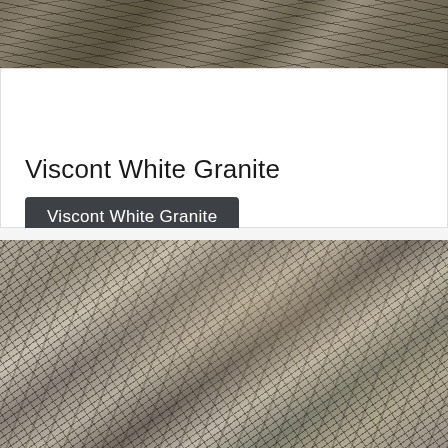[Figure (photo): Close-up photo of Viscont White Granite stone surface, showing olive/tan tones with dark streaks, partial crop at top of page]
Viscont White Granite
Viscont White Granite
[Figure (photo): Close-up photo of Viscont White Granite stone surface showing grey and white swirling patterns with dark veining and speckled texture]